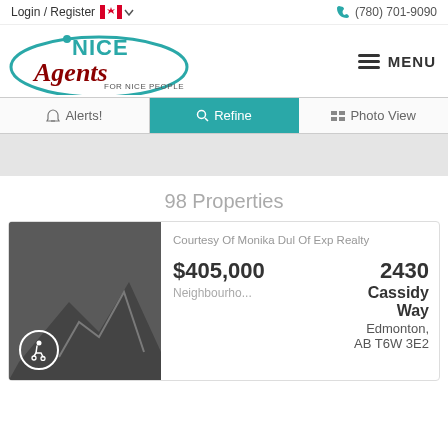Login / Register  (780) 701-9090
[Figure (logo): Nice Agents - For Nice People logo with teal oval and dark red script lettering]
MENU
Alerts!  Refine  Photo View
98 Properties
[Figure (photo): Dark grey property listing thumbnail with mountain silhouette graphic and wheelchair accessibility icon]
Courtesy Of Monika Dul Of Exp Realty
$405,000
Neighbourho...
2430 Cassidy Way
Edmonton, AB T6W 3E2